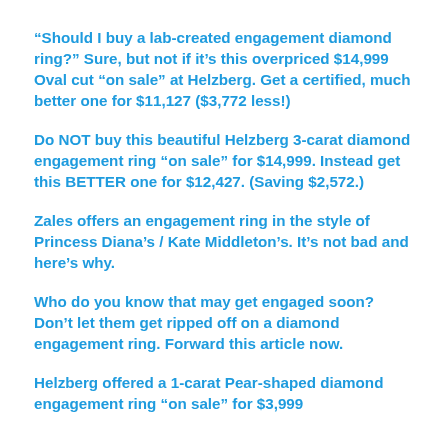“Should I buy a lab-created engagement diamond ring?” Sure, but not if it’s this overpriced $14,999 Oval cut “on sale” at Helzberg. Get a certified, much better one for $11,127 ($3,772 less!)
Do NOT buy this beautiful Helzberg 3-carat diamond engagement ring “on sale” for $14,999. Instead get this BETTER one for $12,427. (Saving $2,572.)
Zales offers an engagement ring in the style of Princess Diana’s / Kate Middleton’s. It’s not bad and here’s why.
Who do you know that may get engaged soon? Don’t let them get ripped off on a diamond engagement ring. Forward this article now.
Helzberg offered a 1-carat Pear-shaped diamond engagement ring “on sale” for $3,999...